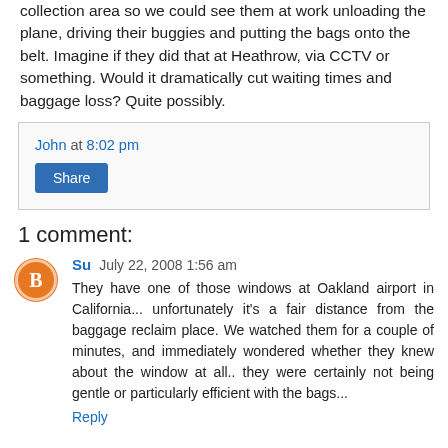collection area so we could see them at work unloading the plane, driving their buggies and putting the bags onto the belt. Imagine if they did that at Heathrow, via CCTV or something. Would it dramatically cut waiting times and baggage loss? Quite possibly.
John at 8:02 pm
Share
1 comment:
Su  July 22, 2008 1:56 am
They have one of those windows at Oakland airport in California... unfortunately it's a fair distance from the baggage reclaim place. We watched them for a couple of minutes, and immediately wondered whether they knew about the window at all.. they were certainly not being gentle or particularly efficient with the bags...
Reply